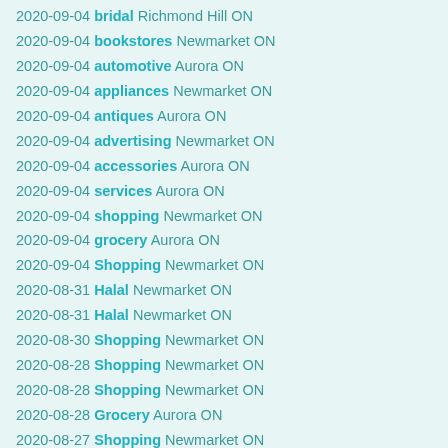2020-09-04 bridal Richmond Hill ON
2020-09-04 bookstores Newmarket ON
2020-09-04 automotive Aurora ON
2020-09-04 appliances Newmarket ON
2020-09-04 antiques Aurora ON
2020-09-04 advertising Newmarket ON
2020-09-04 accessories Aurora ON
2020-09-04 services Aurora ON
2020-09-04 shopping Newmarket ON
2020-09-04 grocery Aurora ON
2020-09-04 Shopping Newmarket ON
2020-08-31 Halal Newmarket ON
2020-08-31 Halal Newmarket ON
2020-08-30 Shopping Newmarket ON
2020-08-28 Shopping Newmarket ON
2020-08-28 Shopping Newmarket ON
2020-08-28 Grocery Aurora ON
2020-08-27 Shopping Newmarket ON
2020-08-27 Pet Stores Aurora ON
2020-08-27 Shopping Newmarket ON
2020-08-23 Apartments Richmond Hill ON
2020-08-22 Arts Aurora ON
2020-08-22 Shopping Newmarket ON